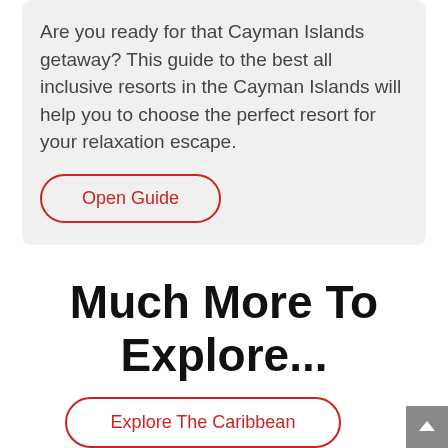Are you ready for that Cayman Islands getaway? This guide to the best all inclusive resorts in the Cayman Islands will help you to choose the perfect resort for your relaxation escape.
Open Guide
Much More To Explore...
Explore The Caribbean